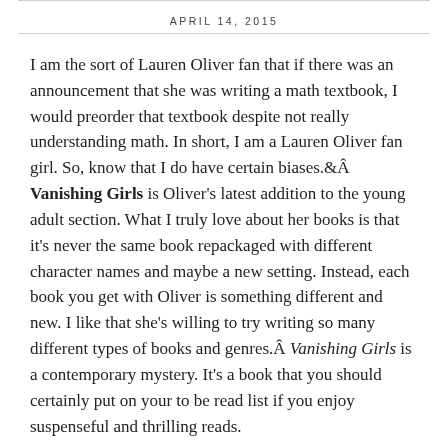APRIL 14, 2015
I am the sort of Lauren Oliver fan that if there was an announcement that she was writing a math textbook, I would preorder that textbook despite not really understanding math. In short, I am a Lauren Oliver fan girl. So, know that I do have certain biases. Vanishing Girls is Oliver's latest addition to the young adult section. What I truly love about her books is that it's never the same book repackaged with different character names and maybe a new setting. Instead, each book you get with Oliver is something different and new. I like that she's willing to try writing so many different types of books and genres. Vanishing Girls is a contemporary mystery. It's a book that you should certainly put on your to be read list if you enjoy suspenseful and thrilling reads.
Vanishing Girls is about two sisters – Nick and Dara. There was an accident in March, where Dara was seriously injured. Nick was driving. Dara refuses to speak with Nick. What this book does is go back and forth between Nick's point of view and